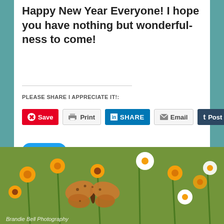Happy New Year Everyone! I hope you have nothing but wonderful-ness to come!
PLEASE SHARE I APPRECIATE IT!:
[Figure (screenshot): Social sharing buttons: Save (Pinterest, red), Print (grey), Share (LinkedIn, blue), Email (grey), Post (Tumblr, dark navy), Tweet (Twitter, light blue)]
Loading...
[Figure (photo): Photograph of a butterfly resting on orange and white flowers in a garden. Watermark reads: Brandie Bell Photography]